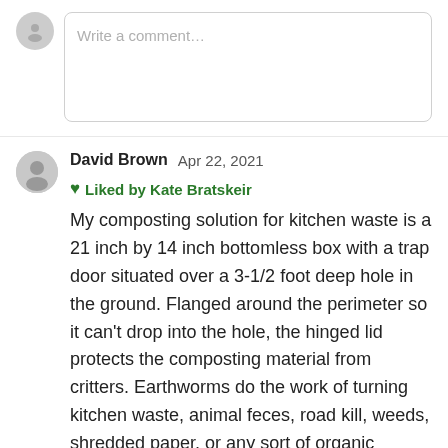[Figure (other): Comment input box with gray user avatar and placeholder text 'Write a comment...']
David Brown  Apr 22, 2021  ❤ Liked by Kate Bratskeir
My composting solution for kitchen waste is a 21 inch by 14 inch bottomless box with a trap door situated over a 3-1/2 foot deep hole in the ground. Flanged around the perimeter so it can't drop into the hole, the hinged lid protects the composting material from critters. Earthworms do the work of turning kitchen waste, animal feces, road kill, weeds, shredded paper, or any sort of organic material into dirt. Box and lid are fashioned from scraps of trex composite decking material; stainless steel hinges recommended. Takes about three years to fill by stages because the material subsides as the worms complete the vermicomposting process. So, I have three (I call them nutrient